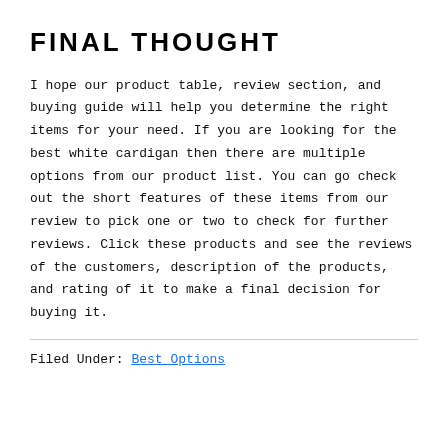FINAL THOUGHT
I hope our product table, review section, and buying guide will help you determine the right items for your need. If you are looking for the best white cardigan then there are multiple options from our product list. You can go check out the short features of these items from our review to pick one or two to check for further reviews. Click these products and see the reviews of the customers, description of the products, and rating of it to make a final decision for buying it.
Filed Under: Best Options